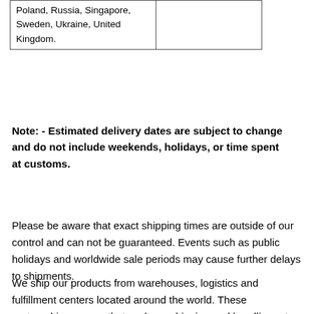| Poland, Russia, Singapore, Sweden, Ukraine, United Kingdom. |  |
Note: - Estimated delivery dates are subject to change and do not include weekends, holidays, or time spent at customs.
Please be aware that exact shipping times are outside of our control and can not be guaranteed. Events such as public holidays and worldwide sale periods may cause further delays to shipments.
We ship our products from warehouses, logistics and fulfillment centers located around the world. These partnerships ensure that we have shipping and handling rates that are as inexpensive as possible while still delivering our products within a reasonable amount of